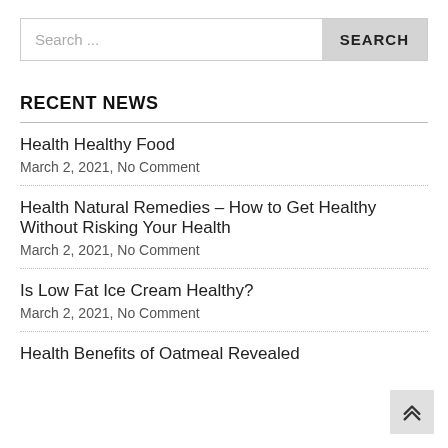Search ...
RECENT NEWS
Health Healthy Food
March 2, 2021, No Comment
Health Natural Remedies – How to Get Healthy Without Risking Your Health
March 2, 2021, No Comment
Is Low Fat Ice Cream Healthy?
March 2, 2021, No Comment
Health Benefits of Oatmeal Revealed